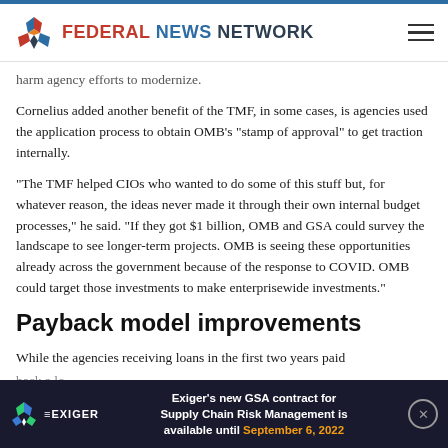Federal News Network
harm agency efforts to modernize.
Cornelius added another benefit of the TMF, in some cases, is agencies used the application process to obtain OMB's “stamp of approval” to get traction internally.
“The TMF helped CIOs who wanted to do some of this stuff but, for whatever reason, the ideas never made it through their own internal budget processes,” he said. “If they got $1 billion, OMB and GSA could survey the landscape to see longer-term projects. OMB is seeing these opportunities already across the government because of the response to COVID. OMB could target those investments to make enterprisewide investments.”
Payback model improvements
While the agencies receiving loans in the first two years paid back a lo... 2018 an... ...e
[Figure (infographic): Exiger advertisement banner: Exiger's new GSA contract for Supply Chain Risk Management is available until September 6, 2022]